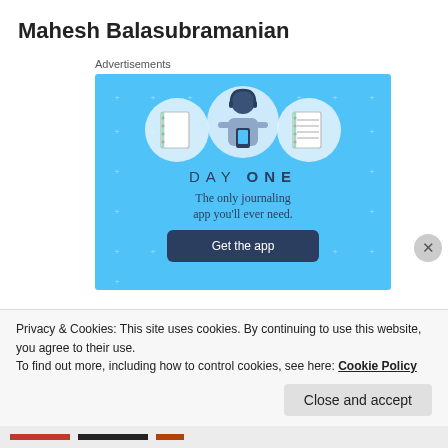Mahesh Balasubramanian
Advertisements
[Figure (illustration): DAY ONE journaling app advertisement banner on a light blue background with star/cross sparkles. Shows three circular icons: a blank notebook, a person holding a phone, and a lined notebook. Text reads 'DAY ONE – The only journaling app you'll ever need.' with a 'Get the app' dark blue button.]
Privacy & Cookies: This site uses cookies. By continuing to use this website, you agree to their use.
To find out more, including how to control cookies, see here: Cookie Policy
Close and accept